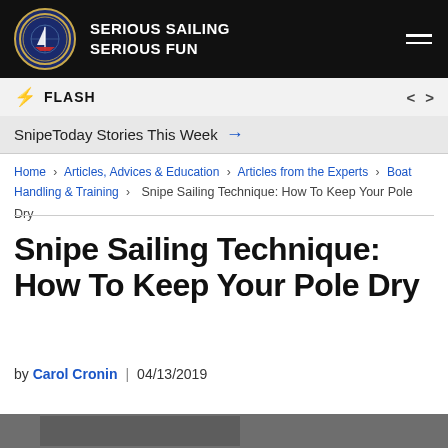SERIOUS SAILING SERIOUS FUN
FLASH
SnipeToday Stories This Week →
Home › Articles, Advices & Education › Articles from the Experts › Boat Handling & Training › Snipe Sailing Technique: How To Keep Your Pole Dry
Snipe Sailing Technique: How To Keep Your Pole Dry
by Carol Cronin | 04/13/2019